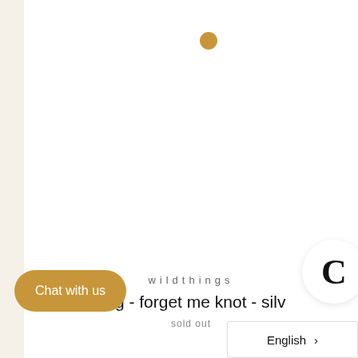[Figure (other): White product image area with a golden/amber dot near the top center, and a circular white button with bold letter C on the right side]
wildthings
ring - forget me knot - silv
sold out
Chat with us
English >